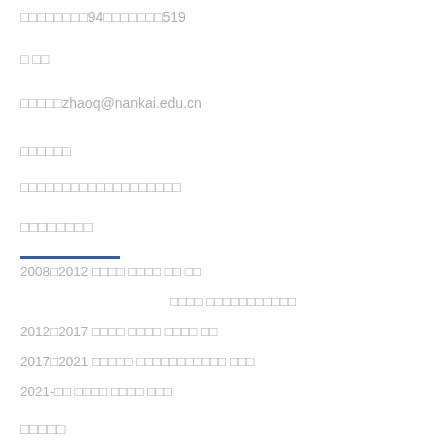□□□□□□□□94□□□□□□□519
□ □□
□□□□□zhaoq@nankai.edu.cn
□□□□□□
□□□□□□□□□□□□□□□□□□□
□□□□□□□□
2008□2012  □□□□ □□□□ □□ □□
□□□□ □□□□□□□□□□□
2012□2017  □□□□ □□□□ □□□□ □□
2017□2021  □□□□□ □□□□□□□□□□□ □□□
2021-□□   □□□□ □□□□ □□□
□□□□□